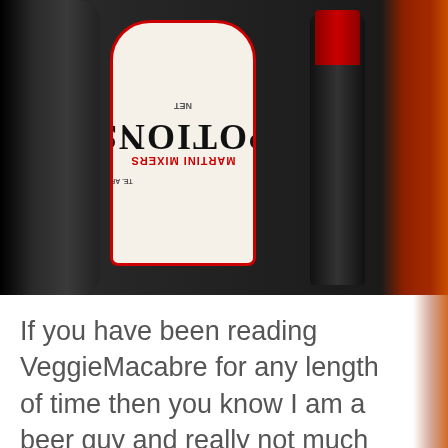[Figure (photo): Photo of a cocktail mixer product with a label reading 'POTIONS MARTINI MIXERS' with text rotated, alongside a dark bottle with red cap, set against a dark background with orange glow on the right side. Text on label includes 'NET' visible at bottom.]
If you have been reading VeggieMacabre for any length of time then you know I am a beer guy and really not much of a mixed drink fan. Sure, around Thanksgiving and